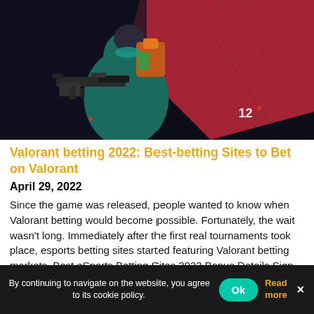[Figure (screenshot): Dark-themed video game screenshot showing a character holding a weapon, with dark red and teal background colors, game UI element showing '12' in bottom right area.]
Valorant betting 2022: Best-betting Sites to Bet on Valorant
April 29, 2022
Since the game was released, people wanted to know when Valorant betting would become possible. Fortunately, the wait wasn't long. Immediately after the first real tournaments took place, esports betting sites started featuring Valorant betting markets. Best eSports Betting Sites 2022 Bonus Details Sign
By continuing to navigate on the website, you agree to its cookie policy. Ok Read more ×